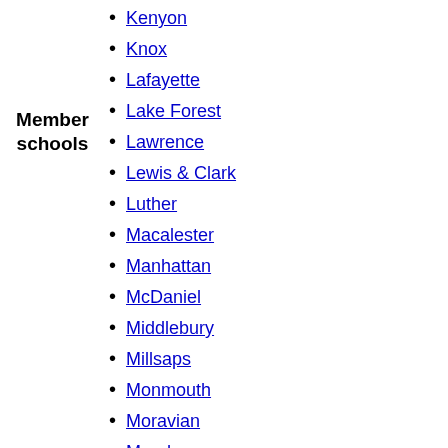Member schools
Kenyon
Knox
Lafayette
Lake Forest
Lawrence
Lewis & Clark
Luther
Macalester
Manhattan
McDaniel
Middlebury
Millsaps
Monmouth
Moravian
Morehouse
Mount Holyoke
Muhlenberg
Nebraska Wesleyan
Oberlin
Occidental
Oglethorpe
Ohio Wesleyan
Pitzer
Pomona
Presbyterian